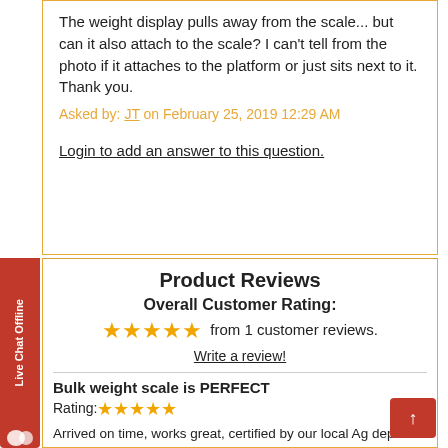The weight display pulls away from the scale... but can it also attach to the scale? I can't tell from the photo if it attaches to the platform or just sits next to it. Thank you.
Asked by: JT on February 25, 2019 12:29 AM
Login to add an answer to this question.
Product Reviews
Overall Customer Rating:
★★★★★ from 1 customer reviews.
Write a review!
Bulk weight scale is PERFECT
Rating: ★★★★★
Arrived on time, works great, certified by our local Ag dep... and in use. We are able to weigh the loose product brought in by vendors in the tote, saving time and ensuring that